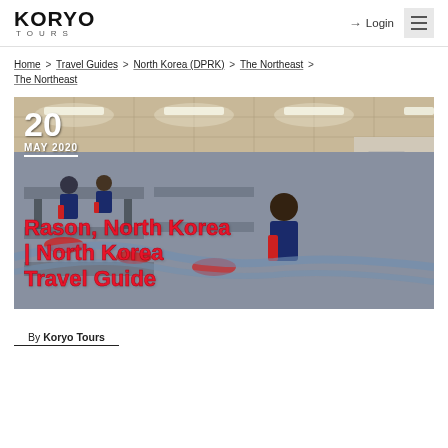KORYO TOURS | Login | Menu
Home > Travel Guides > North Korea (DPRK) > The Northeast > The Northeast
[Figure (photo): Interior of a North Korean factory in Rason showing workers in blue and red uniforms seated at sewing machines along long production line tables with fluorescent lighting overhead]
Rason, North Korea | North Korea Travel Guide
20 MAY 2020
By Koryo Tours